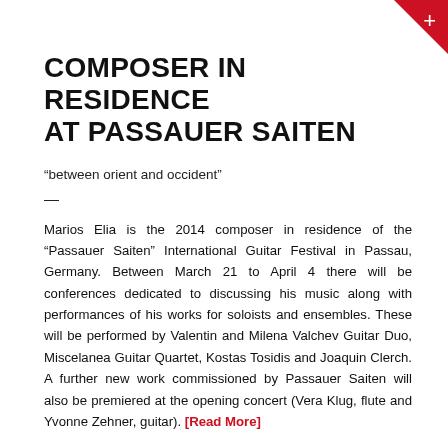COMPOSER IN RESIDENCE AT PASSAUER SAITEN
“between orient and occident”
—
Marios Elia is the 2014 composer in residence of the “Passauer Saiten” International Guitar Festival in Passau, Germany. Between March 21 to April 4 there will be conferences dedicated to discussing his music along with performances of his works for soloists and ensembles. These will be performed by Valentin and Milena Valchev Guitar Duo, Miscelanea Guitar Quartet, Kostas Tosidis and Joaquin Clerch. A further new work commissioned by Passauer Saiten will also be premiered at the opening concert (Vera Klug, flute and Yvonne Zehner, guitar). [Read More]